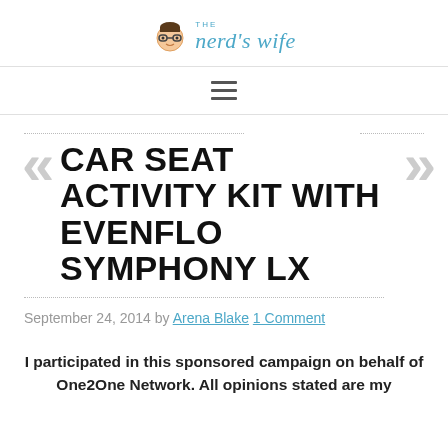THE nerd's wife
[Figure (logo): The Nerd's Wife blog logo with cartoon nerd face icon and italic blue text]
CAR SEAT ACTIVITY KIT WITH EVENFLO SYMPHONY LX
September 24, 2014 by Arena Blake 1 Comment
I participated in this sponsored campaign on behalf of One2One Network. All opinions stated are my